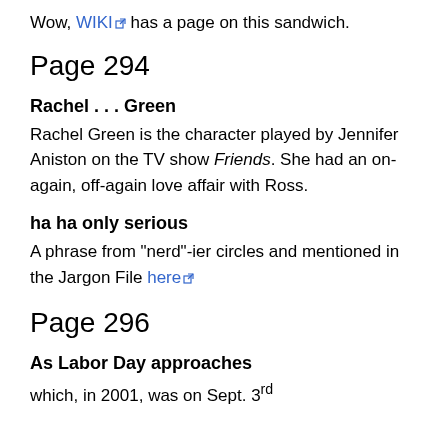Wow, WIKI has a page on this sandwich.
Page 294
Rachel . . . Green
Rachel Green is the character played by Jennifer Aniston on the TV show Friends. She had an on-again, off-again love affair with Ross.
ha ha only serious
A phrase from "nerd"-ier circles and mentioned in the Jargon File here
Page 296
As Labor Day approaches
which, in 2001, was on Sept. 3rd